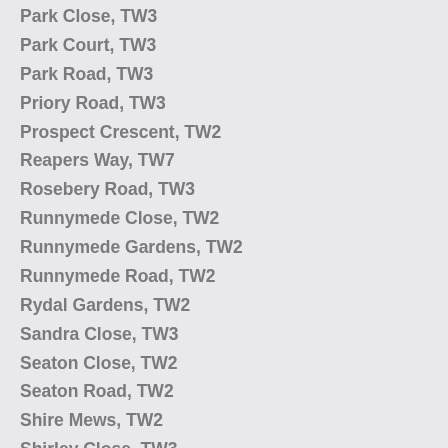Park Close, TW3
Park Court, TW3
Park Road, TW3
Priory Road, TW3
Prospect Crescent, TW2
Reapers Way, TW7
Rosebery Road, TW3
Runnymede Close, TW2
Runnymede Gardens, TW2
Runnymede Road, TW2
Rydal Gardens, TW2
Sandra Close, TW3
Seaton Close, TW2
Seaton Road, TW2
Shire Mews, TW2
Shirley Close, TW3
Shirley Drive, TW3
Southland Way, TW3
Southland Way, TW3